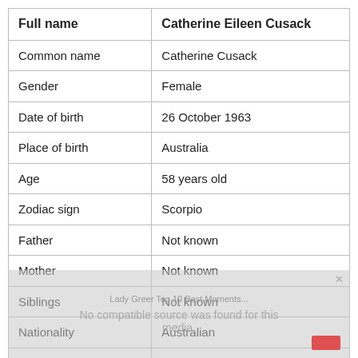| Full name | Catherine Eileen Cusack |
| --- | --- |
| Common name | Catherine Cusack |
| Gender | Female |
| Date of birth | 26 October 1963 |
| Place of birth | Australia |
| Age | 58 years old |
| Zodiac sign | Scorpio |
| Father | Not known |
| Mother | Not known |
| Siblings | Not known |
| Nationality | Australian |
| Religion | Not known |